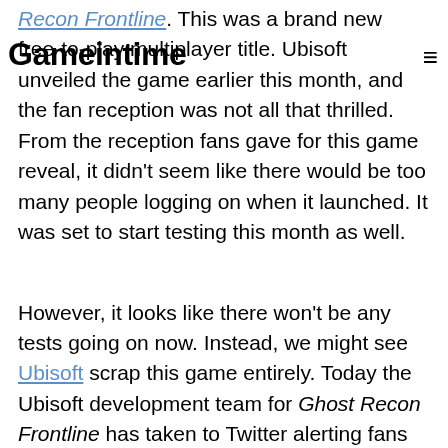Gameintime
Recon Frontline. This was a brand new free-to-play multiplayer title. Ubisoft unveiled the game earlier this month, and the fan reception was not all that thrilled. From the reception fans gave for this game reveal, it didn't seem like there would be too many people logging on when it launched. It was set to start testing this month as well.
However, it looks like there won't be any tests going on now. Instead, we might see Ubisoft scrap this game entirely. Today the Ubisoft development team for Ghost Recon Frontline has taken to Twitter alerting fans that they are no longer testing the game. The entire post made note that the development team is dedicated to creating the best experience possible. It looks like the